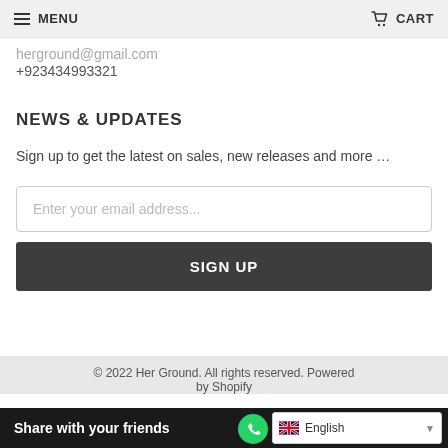MENU  CART
herground@gmail.com
+923434993321
NEWS & UPDATES
Sign up to get the latest on sales, new releases and more …
Enter your email address...
SIGN UP
© 2022 Her Ground. All rights reserved. Powered by Shopify
Share with your friends
English